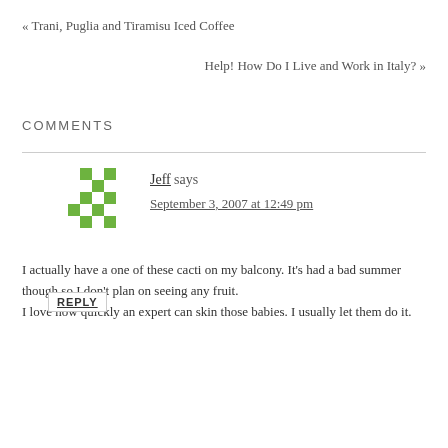« Trani, Puglia and Tiramisu Iced Coffee
Help! How Do I Live and Work in Italy? »
COMMENTS
Jeff says
September 3, 2007 at 12:49 pm
I actually have a one of these cacti on my balcony. It's had a bad summer though so I don't plan on seeing any fruit.
I love how quickly an expert can skin those babies. I usually let them do it.
REPLY